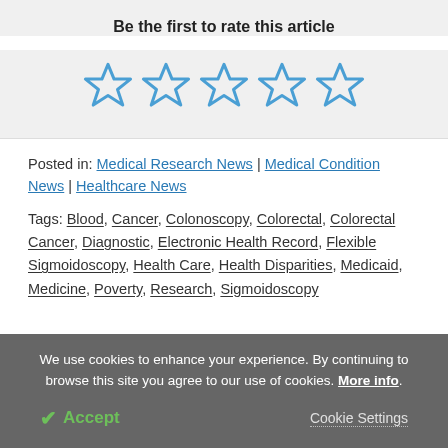Be the first to rate this article
[Figure (other): Five empty star rating icons in blue outline style]
Posted in: Medical Research News | Medical Condition News | Healthcare News
Tags: Blood, Cancer, Colonoscopy, Colorectal, Colorectal Cancer, Diagnostic, Electronic Health Record, Flexible Sigmoidoscopy, Health Care, Health Disparities, Medicaid, Medicine, Poverty, Research, Sigmoidoscopy
We use cookies to enhance your experience. By continuing to browse this site you agree to our use of cookies. More info.
✔ Accept   Cookie Settings